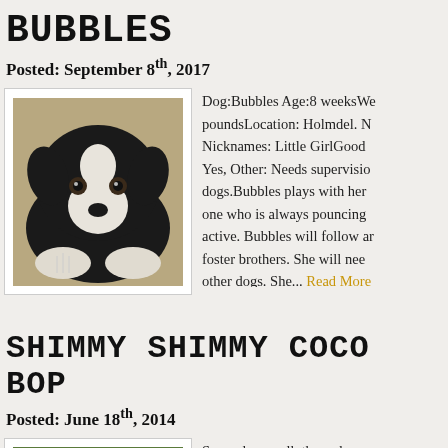BUBBLES
Posted: September 8th, 2017
[Figure (photo): Black and white puppy lying down on concrete, face resting on paws, looking at camera]
Dog:Bubbles Age:8 weeksWe poundsLocation: Holmdel. NJ Nicknames: Little GirlGood Yes, Other: Needs supervision dogs.Bubbles plays with her one who is always pouncing active. Bubbles will follow ar foster brothers. She will nee other dogs. She... Read More
SHIMMY SHIMMY COCO BOP
Posted: June 18th, 2014
[Figure (photo): Dog photo outdoors on grass]
Some dogs walk through ou